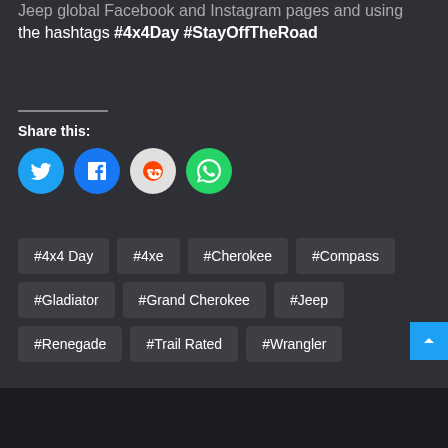Jeep global Facebook and Instagram pages and using the hashtags #4x4Day #StayOffTheRoad
Share this:
[Figure (infographic): Four social media share buttons: Twitter (blue circle), Facebook (blue circle), Reddit (light gray circle), WhatsApp (green circle)]
#4x4 Day
#4xe
#Cherokee
#Compass
#Gladiator
#Grand Cherokee
#Jeep
#Renegade
#Trail Rated
#Wrangler